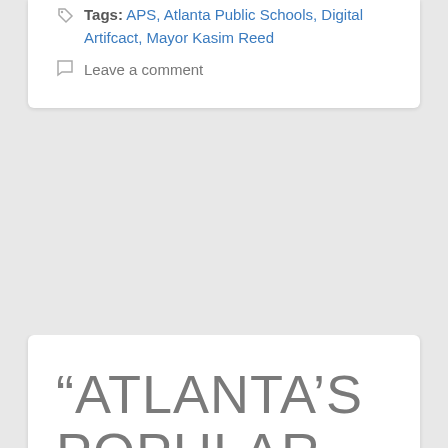Tags: APS, Atlanta Public Schools, Digital Artifcact, Mayor Kasim Reed
Leave a comment
“ATLANTA’S POPULAR BELTLINE TRAIL STILL HAS MILES